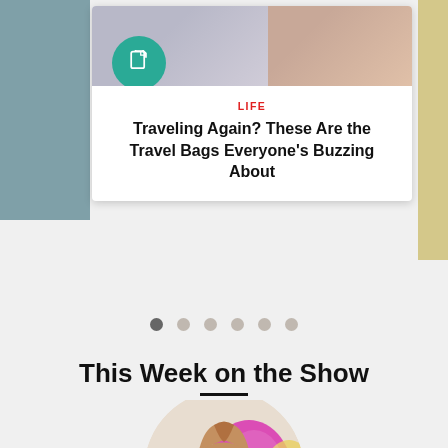[Figure (screenshot): Article card with teal circular icon (document icon), category label LIFE in red, and bold headline. Background shows two cropped photos (gray/purple toned left, warm skin tone right).]
LIFE
Traveling Again? These Are the Travel Bags Everyone's Buzzing About
[Figure (infographic): Carousel pagination dots — 6 dots, first one darker (active), rest light gray.]
This Week on the Show
[Figure (photo): Circular cropped image showing a tan/brown women's tank top or bra top against colorful fabric swatches (pink/magenta, blue, yellow).]